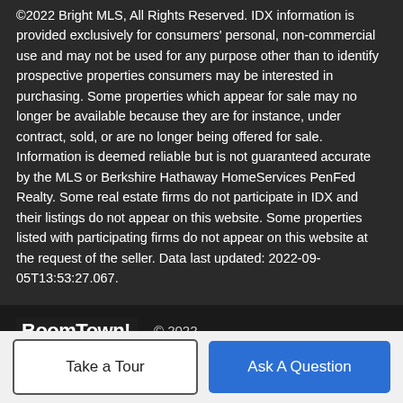©2022 Bright MLS, All Rights Reserved. IDX information is provided exclusively for consumers' personal, non-commercial use and may not be used for any purpose other than to identify prospective properties consumers may be interested in purchasing. Some properties which appear for sale may no longer be available because they are for instance, under contract, sold, or are no longer being offered for sale. Information is deemed reliable but is not guaranteed accurate by the MLS or Berkshire Hathaway HomeServices PenFed Realty. Some real estate firms do not participate in IDX and their listings do not appear on this website. Some properties listed with participating firms do not appear on this website at the request of the seller. Data last updated: 2022-09-05T13:53:27.067.
BoomTown! © 2022 | Terms of Use | Privacy Policy | Accessibility | DMCA | Listings Sitemap
Take a Tour | Ask A Question